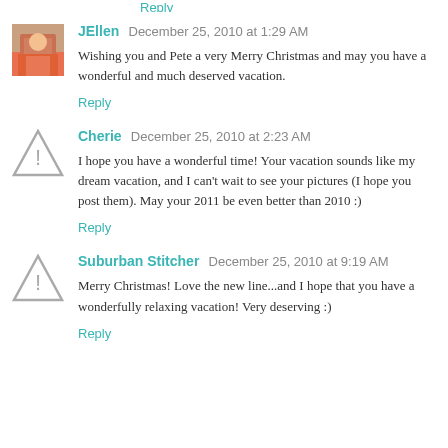Reply
JEllen  December 25, 2010 at 1:29 AM
Wishing you and Pete a very Merry Christmas and may you have a wonderful and much deserved vacation.
Reply
Cherie  December 25, 2010 at 2:23 AM
I hope you have a wonderful time! Your vacation sounds like my dream vacation, and I can't wait to see your pictures (I hope you post them). May your 2011 be even better than 2010 :)
Reply
Suburban Stitcher  December 25, 2010 at 9:19 AM
Merry Christmas! Love the new line...and I hope that you have a wonderfully relaxing vacation! Very deserving :)
Reply